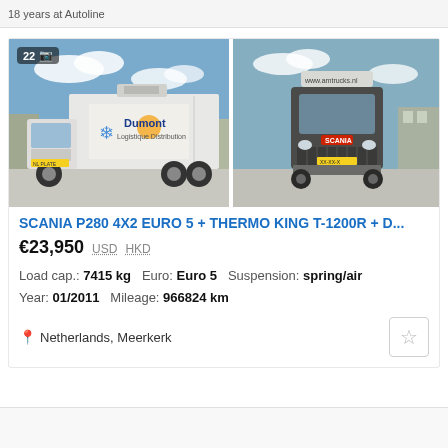18 years at Autoline
[Figure (photo): Two Scania refrigerated trucks side by side. Left truck is white with Dumont Logistique Distribution branding and Thermo King refrigeration unit. Right truck is dark/dark gray Scania viewed from front-right angle with www.amtrucks.nl branding. Photo count badge shows 22 photos.]
SCANIA P280 4X2 EURO 5 + THERMO KING T-1200R + D...
€23,950  USD  HKD
Load cap.: 7415 kg  Euro: Euro 5  Suspension: spring/air
Year: 01/2011  Mileage: 966824 km
Netherlands, Meerkerk